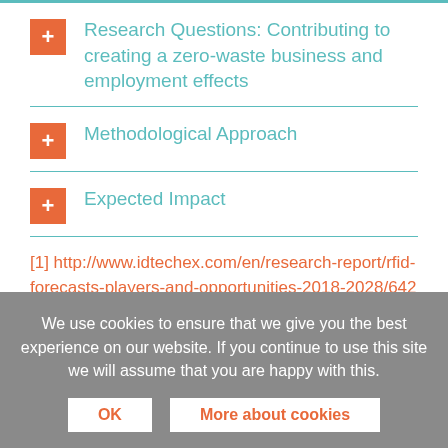Research Questions: Contributing to creating a zero-waste business and employment effects
Methodological Approach
Expected Impact
[1] http://www.idtechex.com/en/research-report/rfid-forecasts-players-and-opportunities-2018-2028/642
We use cookies to ensure that we give you the best experience on our website. If you continue to use this site we will assume that you are happy with this.